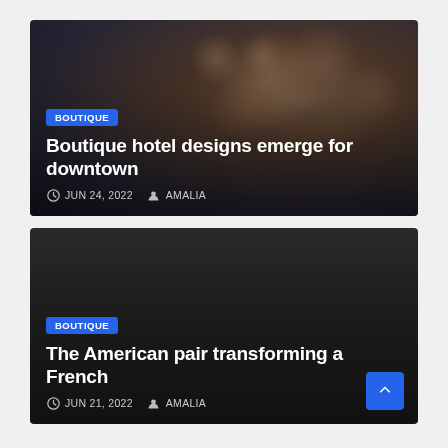[Figure (photo): Article card with water droplets photo background. Badge label 'BOUTIQUE', title 'Boutique hotel designs emerge for downtown', date 'JUN 24, 2022', author 'AMALIA']
[Figure (photo): Article card with dark/black background. Badge label 'BOUTIQUE', title 'The American pair transforming a French', date 'JUN 21, 2022', author 'AMALIA']